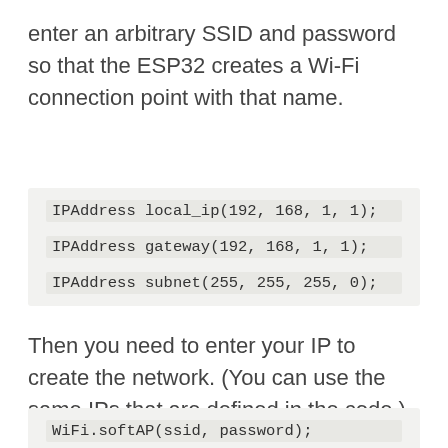enter an arbitrary SSID and password so that the ESP32 creates a Wi-Fi connection point with that name.
[Figure (screenshot): Code block showing three IPAddress variable declarations: local_ip(192,168,1,1), gateway(192,168,1,1), subnet(255,255,255,0)]
Then you need to enter your IP to create the network. (You can use the same IPs that are defined in the code.)
[Figure (screenshot): Code block showing WiFi.softAP(ssid, password);]